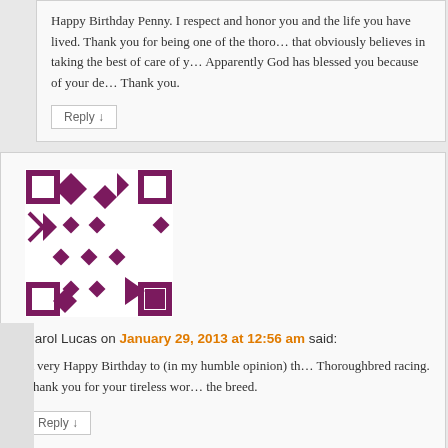Happy Birthday Penny. I respect and honor you and the life you have lived. Thank you for being one of the thoroughbreds that obviously believes in taking the best of care of yourself. Apparently God has blessed you because of your dedication. Thank you.
Reply ↓
[Figure (illustration): Quilted pixel-art avatar in purple/maroon on white background]
Carol Lucas on January 29, 2013 at 12:56 am said:
A very Happy Birthday to (in my humble opinion) the greatest in Thoroughbred racing. Thank you for your tireless work to better the breed.
Reply ↓